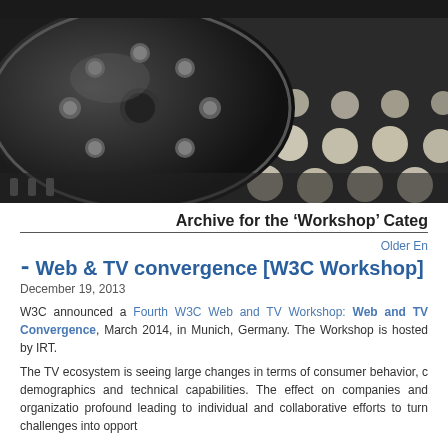[Figure (photo): Close-up photo of black film reel with circular holes against dark dotted background]
Archive for the ‘Workshop’ Categ
Older En
‣ Web & TV convergence [W3C Workshop]
December 19, 2013
W3C announced a Fourth W3C Web and TV Workshop: Web and TV Convergence, March 2014, in Munich, Germany. The Workshop is hosted by IRT.
The TV ecosystem is seeing large changes in terms of consumer behavior, c demographics and technical capabilities. The effect on companies and organizatio profound leading to individual and collaborative efforts to turn challenges into opport